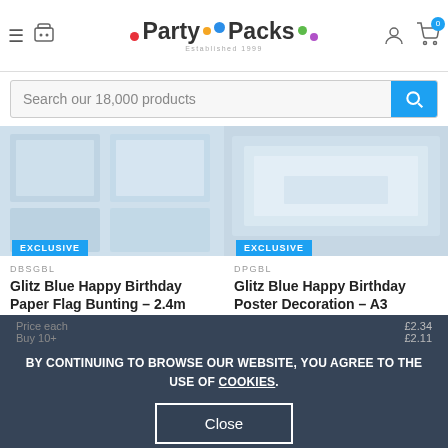PartyPacks - Established 1999
Search our 18,000 products
[Figure (screenshot): Blurred blue product image for Glitz Blue Happy Birthday Paper Flag Bunting - 2.4m with EXCLUSIVE badge]
DBSGBL
Glitz Blue Happy Birthday Paper Flag Bunting – 2.4m
[Figure (screenshot): Blurred blue product image for Glitz Blue Happy Birthday Poster Decoration - A3 with EXCLUSIVE badge]
DPGBL
Glitz Blue Happy Birthday Poster Decoration – A3
BY CONTINUING TO BROWSE OUR WEBSITE, YOU AGREE TO THE USE OF COOKIES.
Close
Price each
Buy 10+
£2.34
£2.11
Add to basket
Add to basket